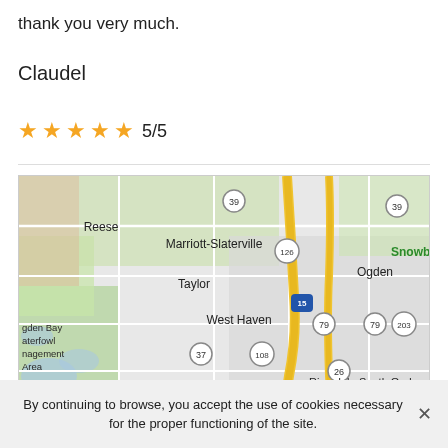thank you very much.
Claudel
★★★★★ 5/5
[Figure (map): Google Maps view showing the area around Ogden, Utah including Marriott-Slaterville, Taylor, West Haven, Reese, Riverdale, South Ogden, Roy, Hooper, with highway markers 15, 84, 39, 79, 126, 108, 37, 97, 203, 89, 26, 25 visible. Green areas for parks and wetlands visible on the left (Ogden Bay Waterfowl Management Area).]
By continuing to browse, you accept the use of cookies necessary for the proper functioning of the site.